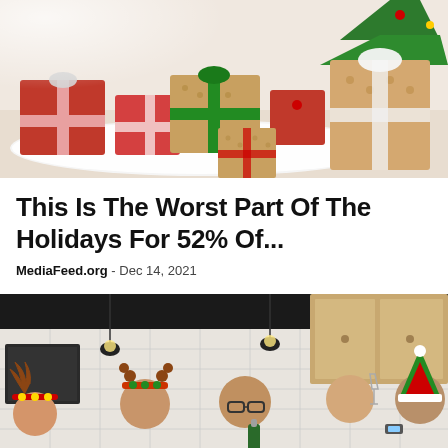[Figure (photo): Christmas gifts wrapped in red and kraft paper with ribbons, placed on a white fluffy rug near a Christmas tree]
This Is The Worst Part Of The Holidays For 52% Of...
MediaFeed.org - Dec 14, 2021
[Figure (photo): Group of people at a holiday party wearing Christmas hats and reindeer headbands, celebrating in a kitchen setting]